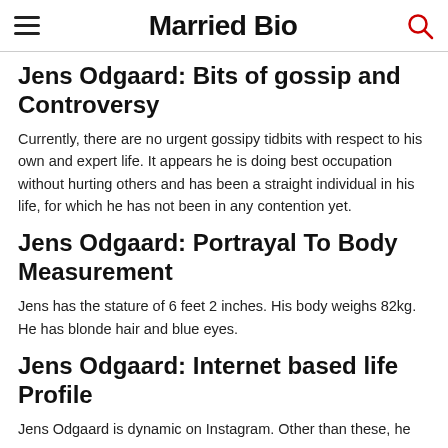Married Bio
Jens Odgaard: Bits of gossip and Controversy
Currently, there are no urgent gossipy tidbits with respect to his own and expert life. It appears he is doing best occupation without hurting others and has been a straight individual in his life, for which he has not been in any contention yet.
Jens Odgaard: Portrayal To Body Measurement
Jens has the stature of 6 feet 2 inches. His body weighs 82kg. He has blonde hair and blue eyes.
Jens Odgaard: Internet based life Profile
Jens Odgaard is dynamic on Instagram. Other than these, he